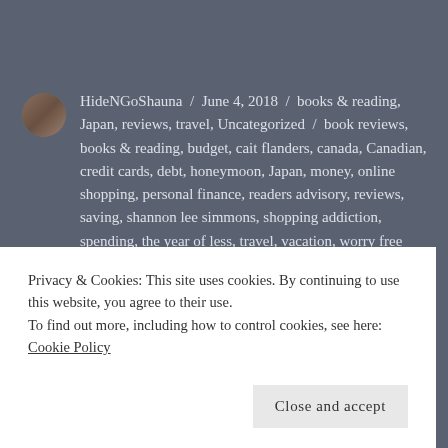HideNGoShauna / June 4, 2018 / books & reading, Japan, reviews, travel, Uncategorized / book reviews, books & reading, budget, cait flanders, canada, Canadian, credit cards, debt, honeymoon, Japan, money, online shopping, personal finance, readers advisory, reviews, saving, shannon lee simmons, shopping addiction, spending, the year of less, travel, vacation, worry free money / 3 Comments
Graphic Novels for Pride
Privacy & Cookies: This site uses cookies. By continuing to use this website, you agree to their use.
To find out more, including how to control cookies, see here: Cookie Policy